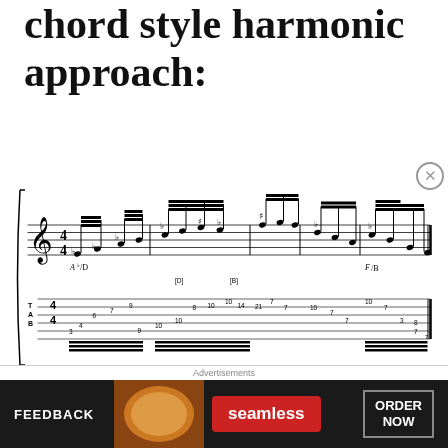chord style harmonic approach:
[Figure (illustration): Sheet music notation with treble clef in 4/4 time showing a guitar tab below. Chord markings include A♭/D, [D], [B], and F/B. The tab staff shows fret numbers including 3, 4, 6, 7, 8, 9, 10, 11, 13, 14, 21. Multiple beamed note groups with accidentals (flats and sharps) are visible.]
“Slash chord” Cory Henry diminished scale improvising approach
Another concept with
[Figure (other): Advertisement banner: FEEDBACK | seamless pizza ad | ORDER NOW]